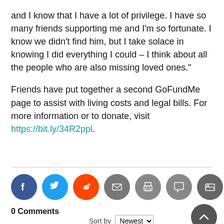and I know that I have a lot of privilege. I have so many friends supporting me and I'm so fortunate. I know we didn't find him, but I take solace in knowing I did everything I could – I think about all the people who are also missing loved ones."
Friends have put together a second GoFundMe page to assist with living costs and legal bills. For more information or to donate, visit https://bit.ly/34R2ppl.
[Figure (infographic): Row of 7 social sharing icon circles: Facebook (blue), Twitter (light blue), Reddit (orange), Email (grey), Print (grey), Comment (grey), Image/Gallery (dark grey)]
0 Comments
Sort by Newest